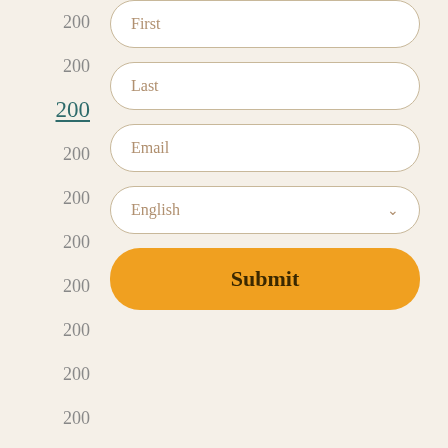200 (repeated ruler labels on left side)
[Figure (screenshot): A form with input fields for First name, Last name, Email, a language dropdown set to English, and a Submit button. Left side shows a vertical ruler with repeated '200' labels, one of which is underlined in teal.]